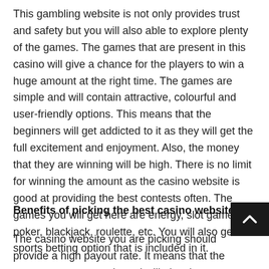This gambling website is not only provides trust and safety but you will also able to explore plenty of the games. The games that are present in this casino will give a chance for the players to win a huge amount at the right time. The games are simple and will contain attractive, colourful and user-friendly options. This means that the beginners will get addicted to it as they will get the full excitement and enjoyment. Also, the money that they are winning will be high. There is no limit for winning the amount as the casino website is good at providing the best contests often. The games you will get here are energy, slot game, poker, blackjack, roulette, etc. You will also get the sports betting option that is included in it.
Benefits of picking the best casino website
The casino website you are picking should provide a high payout rate. It means that the games are easy to win and will give the confirmed payment. You will get the safe gambling option, and